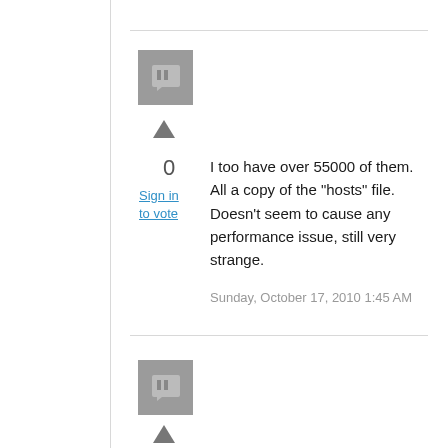[Figure (illustration): Gray avatar/comment icon square]
0
Sign in to vote
I too have over 55000 of them. All a copy of the "hosts" file. Doesn't seem to cause any performance issue, still very strange.
Sunday, October 17, 2010 1:45 AM
[Figure (illustration): Gray avatar/comment icon square (second comment)]